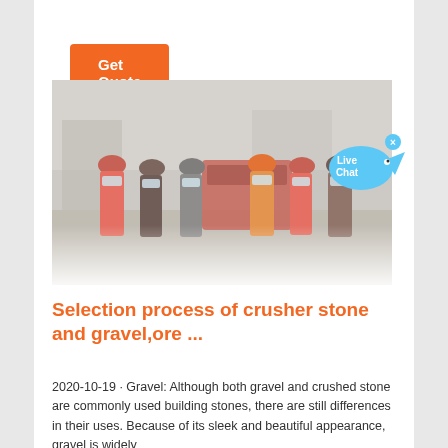Get Quote
[Figure (photo): Group of construction workers wearing hard hats (orange, red, and black) and face masks, standing in front of industrial equipment at a construction site. The scene is slightly hazy.]
[Figure (infographic): Live Chat speech bubble in cyan/blue color with 'Live Chat' text and a small x close button]
Selection process of crusher stone and gravel,ore ...
2020-10-19 · Gravel: Although both gravel and crushed stone are commonly used building stones, there are still differences in their uses. Because of its sleek and beautiful appearance, gravel is widely